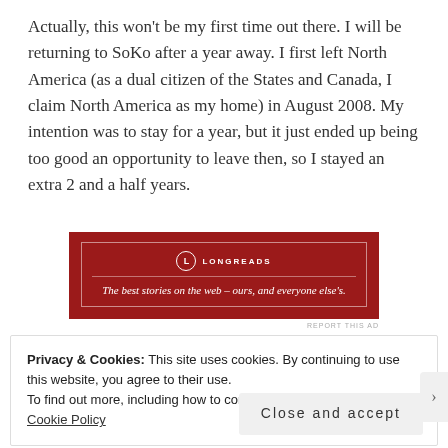Actually, this won't be my first time out there. I will be returning to SoKo after a year away. I first left North America (as a dual citizen of the States and Canada, I claim North America as my home) in August 2008. My intention was to stay for a year, but it just ended up being too good an opportunity to leave then, so I stayed an extra 2 and a half years.
[Figure (other): Longreads advertisement banner: red background with white border, Longreads logo and tagline 'The best stories on the web – ours, and everyone else's.']
Privacy & Cookies: This site uses cookies. By continuing to use this website, you agree to their use.
To find out more, including how to control cookies, see here:
Cookie Policy
Close and accept